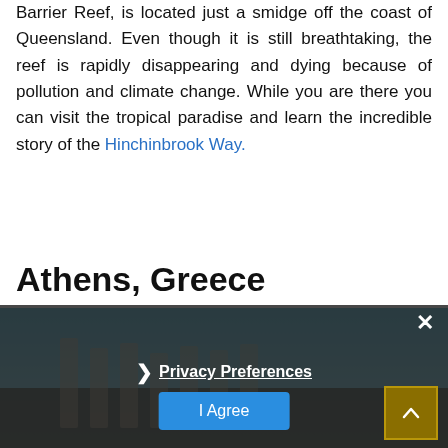Barrier Reef, is located just a smidge off the coast of Queensland. Even though it is still breathtaking, the reef is rapidly disappearing and dying because of pollution and climate change. While you are there you can visit the tropical paradise and learn the incredible story of the Hinchinbrook Way.
Athens, Greece
[Figure (photo): Photograph of Athens, Greece showing ancient columns or ruins, partially obscured by a dark privacy consent overlay]
× Privacy Preferences I Agree